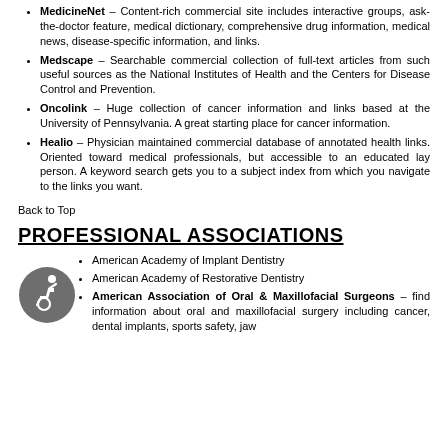MedicineNet – Content-rich commercial site includes interactive groups, ask-the-doctor feature, medical dictionary, comprehensive drug information, medical news, disease-specific information, and links.
Medscape – Searchable commercial collection of full-text articles from such useful sources as the National Institutes of Health and the Centers for Disease Control and Prevention.
Oncolink – Huge collection of cancer information and links based at the University of Pennsylvania. A great starting place for cancer information.
Healio – Physician maintained commercial database of annotated health links. Oriented toward medical professionals, but accessible to an educated lay person. A keyword search gets you to a subject index from which you navigate to the links you want.
Back to Top
PROFESSIONAL ASSOCIATIONS
American Academy of Implant Dentistry
American Academy of Restorative Dentistry
American Association of Oral & Maxillofacial Surgeons – find information about oral and maxillofacial surgery including cancer, dental implants, sports safety, jaw...